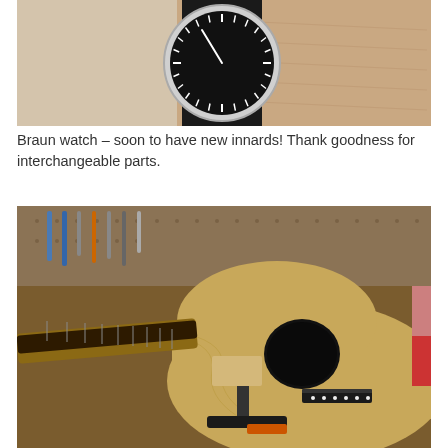[Figure (photo): Close-up photo of a Braun watch with black circular face, white tick marks, and black strap, resting on fabric and a hand/wrist.]
Braun watch – soon to have new innards! Thank goodness for interchangeable parts.
[Figure (photo): Photo of an acoustic guitar being repaired in a workshop. The guitar body is natural wood (spruce/mahogany), with the neck removed or detached, held by clamps. Various tools (screwdrivers, chisels) hang on a pegboard in the background.]